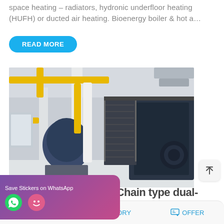space heating – radiators, hydronic underfloor heating (HUFH) or ducted air heating. Bioenergy boiler & hot a…
READ MORE
[Figure (photo): Industrial boiler room with large blue boiler units, yellow pipes, metal staircase, white columns, and industrial equipment on a polished concrete floor.]
Save Stickers on WhatsApp
A - Chain type dual-
MAIL   ADVISORY   OFFER